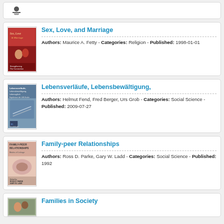[Figure (other): Partial book card at top with a small logo/icon visible]
Sex, Love, and Marriage — Authors: Maurice A. Fetty - Categories: Religion - Published: 1998-01-01
Lebensverläufe, Lebensbewältigung, — Authors: Helmut Fend, Fred Berger, Urs Grob - Categories: Social Science - Published: 2009-07-27
Family-peer Relationships — Authors: Ross D. Parke, Gary W. Ladd - Categories: Social Science - Published: 1992
Families in Society